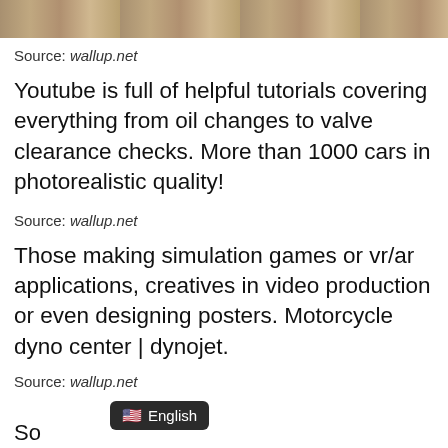[Figure (photo): Top strip of a photo showing a stone or rocky surface texture]
Source: wallup.net
Youtube is full of helpful tutorials covering everything from oil changes to valve clearance checks. More than 1000 cars in photorealistic quality!
Source: wallup.net
Those making simulation games or vr/ar applications, creatives in video production or even designing posters. Motorcycle dyno center | dynojet.
Source: wallup.net
[Figure (screenshot): Language selector badge showing English with US flag emoji]
So